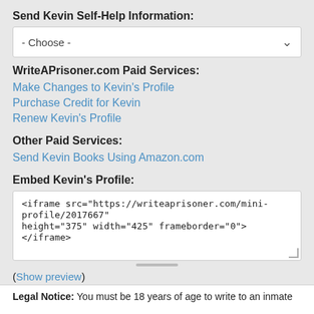Send Kevin Self-Help Information:
[Figure (screenshot): Dropdown selector showing '- Choose -' with a chevron arrow]
WriteAPrisoner.com Paid Services:
Make Changes to Kevin's Profile
Purchase Credit for Kevin
Renew Kevin's Profile
Other Paid Services:
Send Kevin Books Using Amazon.com
Embed Kevin's Profile:
<iframe src="https://writeaprisoner.com/mini-profile/2017667" height="375" width="425" frameborder="0"></iframe>
(Show preview)
Profile Font Size: A- A+
Legal Notice: You must be 18 years of age to write to an inmate